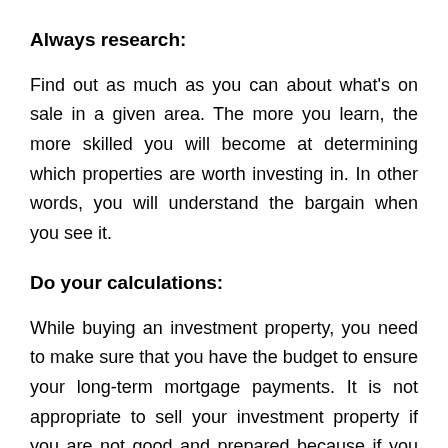Always research:
Find out as much as you can about what's on sale in a given area. The more you learn, the more skilled you will become at determining which properties are worth investing in. In other words, you will understand the bargain when you see it.
Do your calculations:
While buying an investment property, you need to make sure that you have the budget to ensure your long-term mortgage payments. It is not appropriate to sell your investment property if you are not good and prepared because if you are experiencing financial difficulties, you